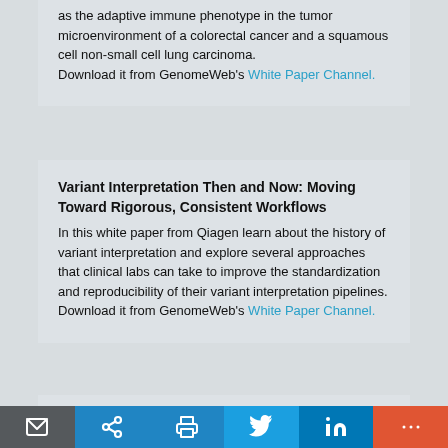as the adaptive immune phenotype in the tumor microenvironment of a colorectal cancer and a squamous cell non-small cell lung carcinoma. Download it from GenomeWeb's White Paper Channel.
Variant Interpretation Then and Now: Moving Toward Rigorous, Consistent Workflows
In this white paper from Qiagen learn about the history of variant interpretation and explore several approaches that clinical labs can take to improve the standardization and reproducibility of their variant interpretation pipelines. Download it from GenomeWeb's White Paper Channel.
Syphilis Update 2023: Recent Developments in...